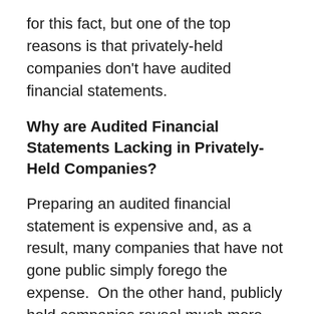for this fact, but one of the top reasons is that privately-held companies don't have audited financial statements.
Why are Audited Financial Statements Lacking in Privately-Held Companies?
Preparing an audited financial statement is expensive and, as a result, many companies that have not gone public simply forego the expense.  On the other hand, publicly held companies reveal much more information regarding their finances as well as a range of other kinds of information.